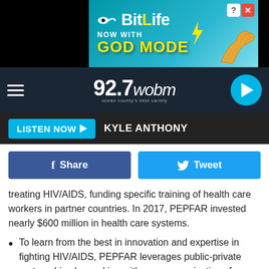[Figure (screenshot): BitLife advertisement banner: 'BitLife NOW WITH GOD MODE' on a teal background with a finger/hand pointing graphic]
[Figure (screenshot): 92.7 WOBM radio station navigation bar with hamburger menu, logo, and play button]
LISTEN NOW ▶  KYLE ANTHONY
Share   Tweet
treating HIV/AIDS, funding specific training of health care workers in partner countries. In 2017, PEPFAR invested nearly $600 million in health care systems.
To learn from the best in innovation and expertise in fighting HIV/AIDS, PEPFAR leverages public-private partnerships by working with many organizations from international to local levels: foreign governments, the private sector, philanthropic organizations, multilateral institutions, international organizations, civil society and faith-based organizations, and people living with HIV